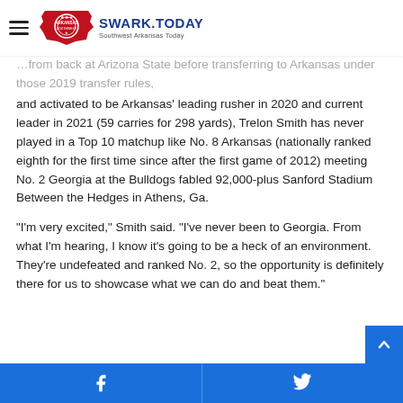SWARK.TODAY — Southwest Arkansas Today
...from back at Arizona State before transferring to Arkansas under those 2019 transfer rules, and activated to be Arkansas' leading rusher in 2020 and current leader in 2021 (59 carries for 298 yards), Trelon Smith has never played in a Top 10 matchup like No. 8 Arkansas (nationally ranked eighth for the first time since after the first game of 2012) meeting No. 2 Georgia at the Bulldogs fabled 92,000-plus Sanford Stadium Between the Hedges in Athens, Ga.
“I’m very excited,” Smith said. “I’ve never been to Georgia. From what I’m hearing, I know it’s going to be a heck of an environment. They’re undefeated and ranked No. 2, so the opportunity is definitely there for us to showcase what we can do and beat them.”
Share on Facebook | Share on Twitter